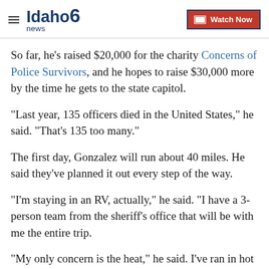Idaho News 6 | Watch Now
So far, he's raised $20,000 for the charity Concerns of Police Survivors, and he hopes to raise $30,000 more by the time he gets to the state capitol.
"Last year, 135 officers died in the United States," he said. "That's 135 too many."
The first day, Gonzalez will run about 40 miles. He said they've planned it out every step of the way.
"I'm staying in an RV, actually," he said. "I have a 3-person team from the sheriff's office that will be with me the entire trip.
"My only concern is the heat," he said. I've ran in hot